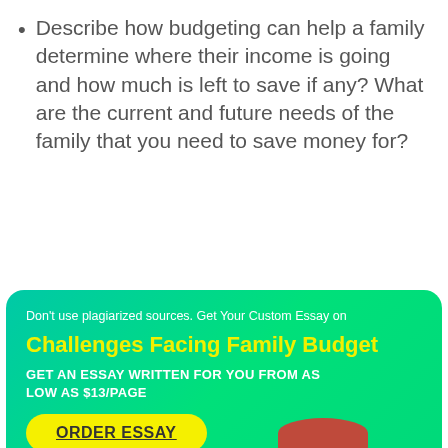Describe how budgeting can help a family determine where their income is going and how much is left to save if any? What are the current and future needs of the family that you need to save money for?
[Figure (infographic): Advertisement box with gradient teal-green background. Contains tagline 'Don't use plagiarized sources. Get Your Custom Essay on', title 'Challenges Facing Family Budget', CTA text 'GET AN ESSAY WRITTEN FOR YOU FROM AS LOW AS $13/PAGE', and a yellow rounded button labeled 'ORDER ESSAY'.]